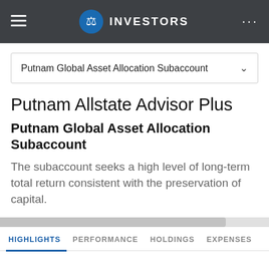INVESTORS
Putnam Global Asset Allocation Subaccount
Putnam Allstate Advisor Plus
Putnam Global Asset Allocation Subaccount
The subaccount seeks a high level of long-term total return consistent with the preservation of capital.
HIGHLIGHTS   PERFORMANCE   HOLDINGS   EXPENSES